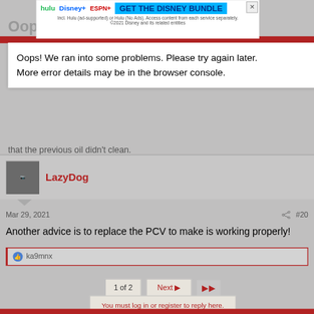[Figure (screenshot): Hulu Disney Plus ESPN+ advertisement banner: GET THE DISNEY BUNDLE. Incl. Hulu (ad-supported) or Hulu (No Ads). Access content from each service separately. ©2021 Disney and its related entities.]
Oops! We ran into some problems. Please try again later. More error details may be in the browser console.
that the previous oil didn't clean.
LazyDog
Mar 29, 2021
#20
Another advice is to replace the PCV to make is working properly!
ka9mnx
1 of 2
Next ▶
You must log in or register to reply here.